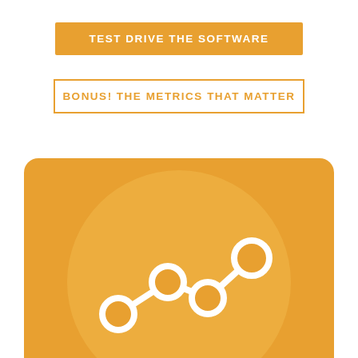TEST DRIVE THE SOFTWARE
BONUS! THE METRICS THAT MATTER
[Figure (illustration): Orange rounded rectangle background with a large light orange circle in the center, containing a white line-chart icon with three circular data point nodes connected by lines, illustrating metrics/analytics concept.]